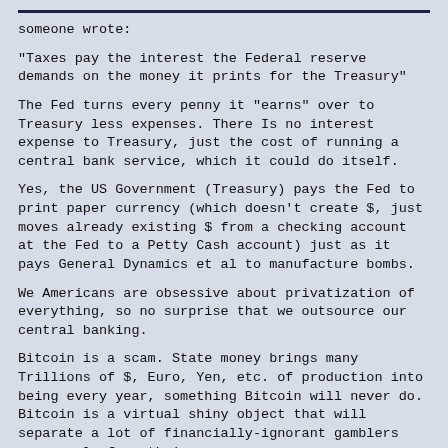someone wrote:
"Taxes pay the interest the Federal reserve demands on the money it prints for the Treasury"
The Fed turns every penny it "earns" over to Treasury less expenses. There Is no interest expense to Treasury, just the cost of running a central bank service, which it could do itself.
Yes, the US Government (Treasury) pays the Fed to print paper currency (which doesn't create $, just moves already existing $ from a checking account at the Fed to a Petty Cash account) just as it pays General Dynamics et al to manufacture bombs.
We Americans are obsessive about privatization of everything, so no surprise that we outsource our central banking.
Bitcoin is a scam. State money brings many Trillions of $, Euro, Yen, etc. of production into being every year, something Bitcoin will never do. Bitcoin is a virtual shiny object that will separate a lot of financially-ignorant gamblers er, people from their money.
Have you ever used Bitcoin for an online transaction? It's as